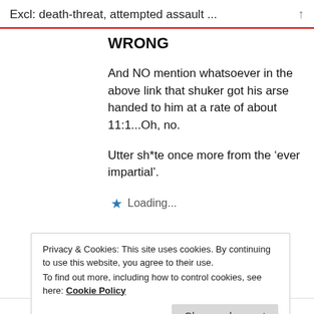Excl: death-threat, attempted assault ...
WRONG
And NO mention whatsoever in the above link that shuker got his arse handed to him at a rate of about 11:1...Oh, no.
Utter sh*te once more from the ‘ever impartial’.
Loading...
Privacy & Cookies: This site uses cookies. By continuing to use this website, you agree to their use.
To find out more, including how to control cookies, see here: Cookie Policy
ects “towards Angela Eagle” who was 213 miles...